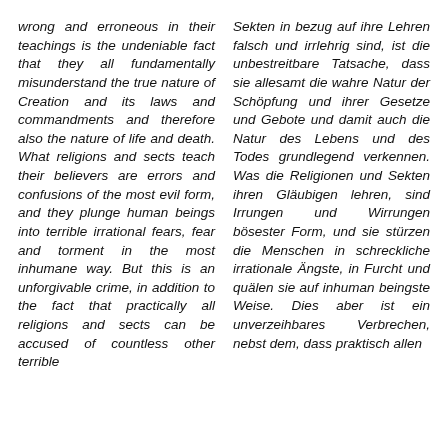wrong and erroneous in their teachings is the undeniable fact that they all fundamentally misunderstand the true nature of Creation and its laws and commandments and therefore also the nature of life and death. What religions and sects teach their believers are errors and confusions of the most evil form, and they plunge human beings into terrible irrational fears, fear and torment in the most inhumane way. But this is an unforgivable crime, in addition to the fact that practically all religions and sects can be accused of countless other terrible
Sekten in bezug auf ihre Lehren falsch und irrlehrig sind, ist die unbestreitbare Tatsache, dass sie allesamt die wahre Natur der Schöpfung und ihrer Gesetze und Gebote und damit auch die Natur des Lebens und des Todes grundlegend verkennen. Was die Religionen und Sekten ihren Gläubigen lehren, sind Irrungen und Wirrungen bösester Form, und sie stürzen die Menschen in schreckliche irrationale Ängste, in Furcht und quälen sie auf inhuman beingste Weise. Dies aber ist ein unverzeihbares Verbrechen, nebst dem, dass praktisch allen